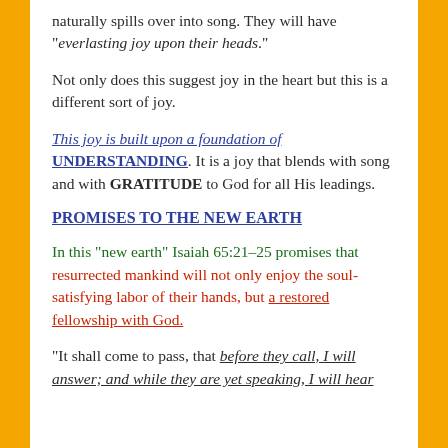naturally spills over into song. They will have “everlasting joy upon their heads.”
Not only does this suggest joy in the heart but this is a different sort of joy.
This joy is built upon a foundation of UNDERSTANDING. It is a joy that blends with song and with GRATITUDE to God for all His leadings.
PROMISES TO THE NEW EARTH
In this “new earth” Isaiah 65:21–25 promises that resurrected mankind will not only enjoy the soul-satisfying labor of their hands, but a restored fellowship with God.
“It shall come to pass, that before they call, I will answer; and while they are yet speaking, I will hear